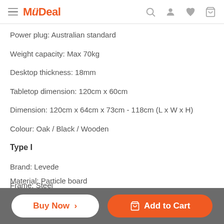MyDeal
Power plug: Australian standard
Weight capacity: Max 70kg
Desktop thickness: 18mm
Tabletop dimension: 120cm x 60cm
Dimension: 120cm x 64cm x 73cm - 118cm (L x W x H)
Colour: Oak / Black / Wooden
Type I
Brand: Levede
Frame: Steel
Material: Particle board